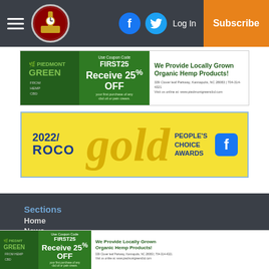Navigation bar with hamburger menu, logo, Facebook icon, Twitter icon, Log In, Subscribe
[Figure (advertisement): Piedmont Green CBD ad banner — Use Coupon Code FIRST25, Receive 25% OFF your first purchase of any cbd oil or pain cream. We Provide Locally Grown Organic Hemp Products! 339 Clover leaf Parkway, Kannapolis, NC 28083 | 704-314-4321 Visit us online at: www.piedmontgreencbd.com]
[Figure (advertisement): 2022 ROCO Gold People's Choice Awards banner with Facebook icon, yellow background]
Sections
Home
News
Local
China Grove
Cleveland
Concord
East Spencer
Gold Hill
[Figure (advertisement): Piedmont Green CBD ad banner (bottom) — Use Coupon Code FIRST25, Receive 25% OFF your first purchase of any cbd oil or pain cream. We Provide Locally Grown Organic Hemp Products! 339 Clover leaf Parkway, Kannapolis, NC 28083 | 704-314-4321 Visit us online at: www.piedmontgreencbd.com]